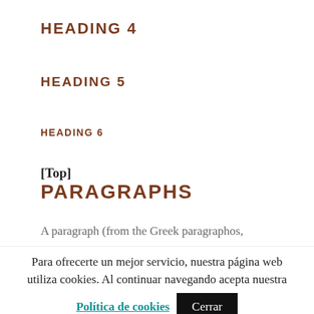HEADING 4
HEADING 5
HEADING 6
[Top]
PARAGRAPHS
A paragraph (from the Greek paragraphos,
Para ofrecerte un mejor servicio, nuestra página web utiliza cookies. Al continuar navegando acepta nuestra
Política de cookies   Cerrar